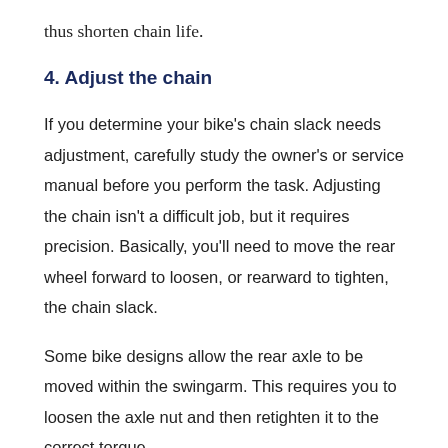thus shorten chain life.
4. Adjust the chain
If you determine your bike's chain slack needs adjustment, carefully study the owner's or service manual before you perform the task. Adjusting the chain isn't a difficult job, but it requires precision. Basically, you'll need to move the rear wheel forward to loosen, or rearward to tighten, the chain slack.
Some bike designs allow the rear axle to be moved within the swingarm. This requires you to loosen the axle nut and then retighten it to the correct torque.
It's crucial that the rear wheel is straight in the swing